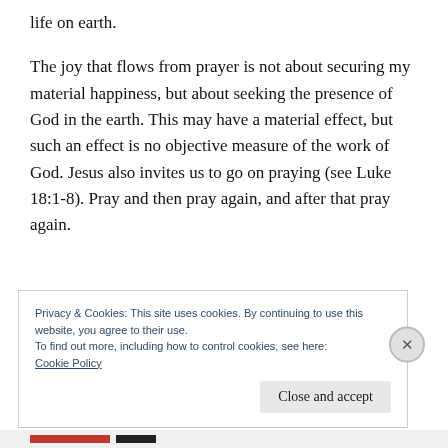life on earth.
The joy that flows from prayer is not about securing my material happiness, but about seeking the presence of God in the earth. This may have a material effect, but such an effect is no objective measure of the work of God. Jesus also invites us to go on praying (see Luke 18:1-8). Pray and then pray again, and after that pray again.
Privacy & Cookies: This site uses cookies. By continuing to use this website, you agree to their use.
To find out more, including how to control cookies, see here:
Cookie Policy
Close and accept